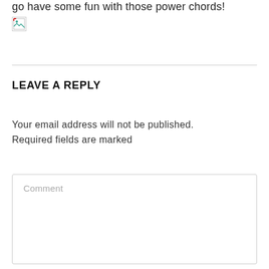go have some fun with those power chords!
[Figure (other): Broken image placeholder icon]
LEAVE A REPLY
Your email address will not be published. Required fields are marked
Comment